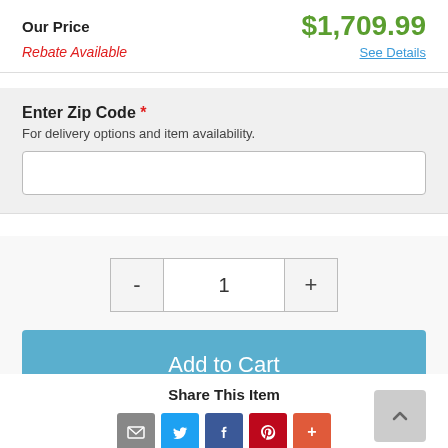Our Price  $1,709.99
Rebate Available  See Details
Enter Zip Code *
For delivery options and item availability.
1
Add to Cart
Share This Item
[Figure (infographic): Social share icons: email, Twitter, Facebook, Pinterest, more]